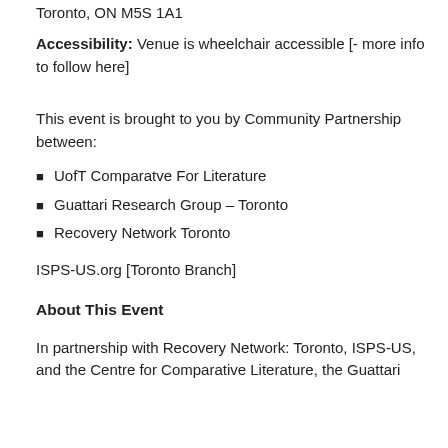Toronto, ON M5S 1A1
Accessibility: Venue is wheelchair accessible [- more info to follow here]
This event is brought to you by Community Partnership between:
UofT Comparatve For Literature
Guattari Research Group – Toronto
Recovery Network Toronto
ISPS-US.org [Toronto Branch]
About This Event
In partnership with Recovery Network: Toronto, ISPS-US, and the Centre for Comparative Literature, the Guattari